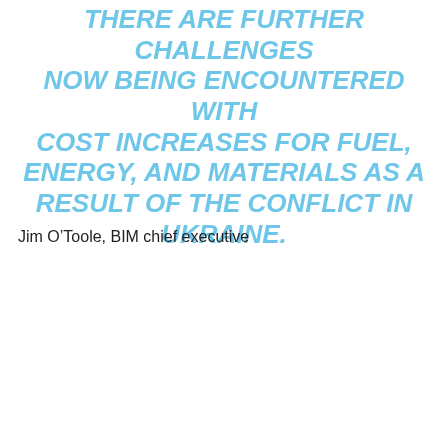THERE ARE FURTHER CHALLENGES NOW BEING ENCOUNTERED WITH COST INCREASES FOR FUEL, ENERGY, AND MATERIALS AS A RESULT OF THE CONFLICT IN UKRAINE.
Jim O'Toole, BIM chief executive